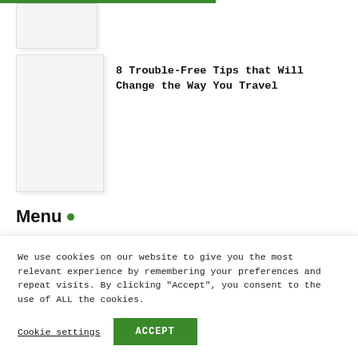[Figure (illustration): Small white placeholder card/image at top left, partially visible]
[Figure (illustration): White placeholder card/image box below the first one]
8 Trouble-Free Tips that Will Change the Way You Travel
Menu
Home
About
We use cookies on our website to give you the most relevant experience by remembering your preferences and repeat visits. By clicking "Accept", you consent to the use of ALL the cookies.
Cookie settings  ACCEPT